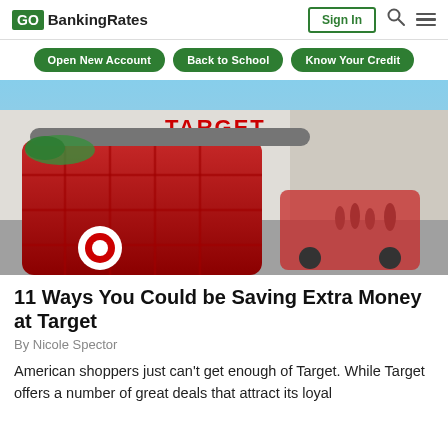GO BankingRates | Sign In
Open New Account | Back to School | Know Your Credit
[Figure (photo): A red Target shopping cart in the foreground with a Target store building and parking lot in the background under a clear blue sky.]
11 Ways You Could be Saving Extra Money at Target
By Nicole Spector
American shoppers just can't get enough of Target. While Target offers a number of great deals that attract its loyal